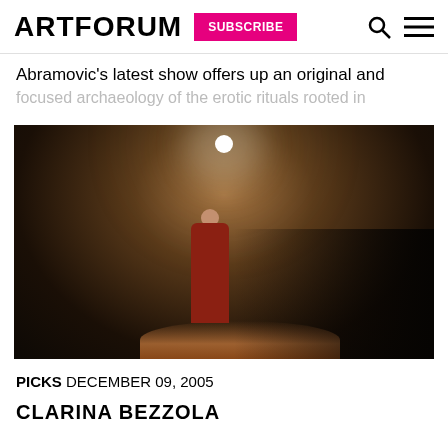ARTFORUM  SUBSCRIBE
Abramovic’s latest show offers up an original and focused archaeology of the erotic rituals rooted in
[Figure (photo): Dark gallery performance photo showing a lone figure in a red robe standing under a spotlight, surrounded by a crowd of silhouetted audience members in a dimly lit space]
PICKS DECEMBER 09, 2005
CLARINA BEZZOLA